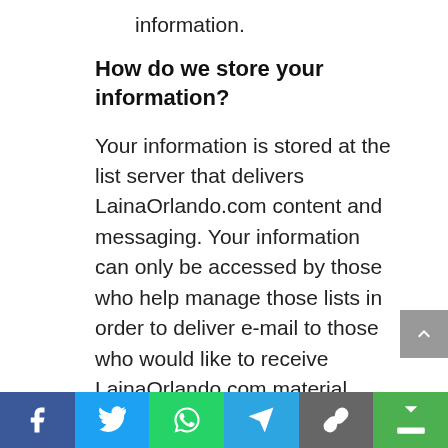information.
How do we store your information?
Your information is stored at the list server that delivers LainaOrlando.com content and messaging. Your information can only be accessed by those who help manage those lists in order to deliver e-mail to those who would like to receive LainaOrlando.com material.
All of the messaging or emails that are sent to you by LainaOrlando.com include an unsubscribe link in them. You can remove yourself at any time from our